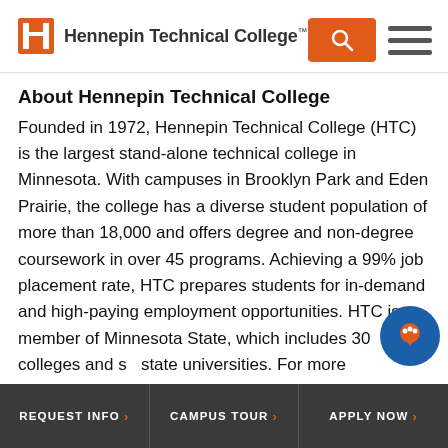[Figure (logo): Hennepin Technical College logo with orange H mark and college name]
About Hennepin Technical College
Founded in 1972, Hennepin Technical College (HTC) is the largest stand-alone technical college in Minnesota. With campuses in Brooklyn Park and Eden Prairie, the college has a diverse student population of more than 18,000 and offers degree and non-degree coursework in over 45 programs. Achieving a 99% job placement rate, HTC prepares students for in-demand and high-paying employment opportunities. HTC is a member of Minnesota State, which includes 30 colleges and state universities. For more information, visit
REQUEST INFO   CAMPUS TOUR   APPLY NOW